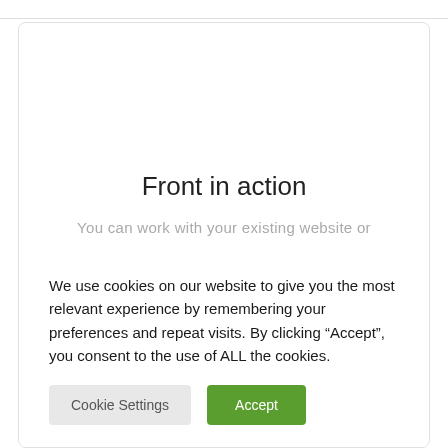[Figure (screenshot): Top border bar of a webpage]
Front in action
You can work with your existing website or
We use cookies on our website to give you the most relevant experience by remembering your preferences and repeat visits. By clicking “Accept”, you consent to the use of ALL the cookies.
Cookie Settings
Accept